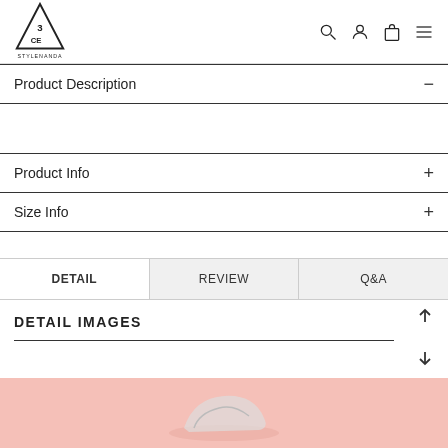3CE STYLENANDA
Product Description
Product Info
Size Info
DETAIL | REVIEW | Q&A
DETAIL IMAGES
[Figure (photo): Pink background product photo area at bottom of page]